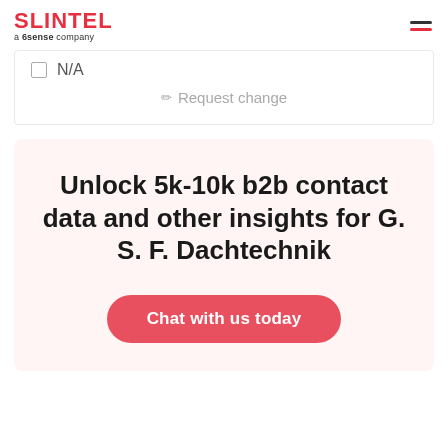SLINTEL a 6sense company
N/A
Request change
Unlock 5k-10k b2b contact data and other insights for G. S. F. Dachtechnik
Chat with us today